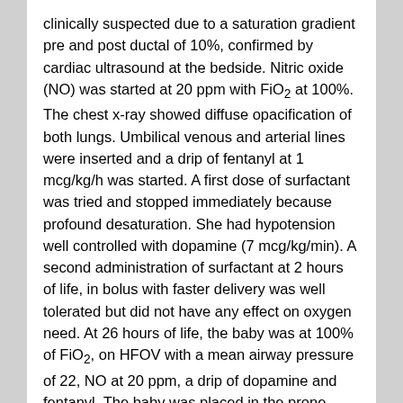clinically suspected due to a saturation gradient pre and post ductal of 10%, confirmed by cardiac ultrasound at the bedside. Nitric oxide (NO) was started at 20 ppm with FiO₂ at 100%. The chest x-ray showed diffuse opacification of both lungs. Umbilical venous and arterial lines were inserted and a drip of fentanyl at 1 mcg/kg/h was started. A first dose of surfactant was tried and stopped immediately because profound desaturation. She had hypotension well controlled with dopamine (7 mcg/kg/min). A second administration of surfactant at 2 hours of life, in bolus with faster delivery was well tolerated but did not have any effect on oxygen need. At 26 hours of life, the baby was at 100% of FiO₂, on HFOV with a mean airway pressure of 22, NO at 20 ppm, a drip of dopamine and fentanyl. The baby was placed in the prone position and the FiO₂ decreased from 100 progressively to 60%. At 36 h of life, the FiO₂ increased again to 100% and the baby was saturating at 80%. One dose of muscle paralytic ((Rocuronium: 1 mg/kg) was given and immediately the